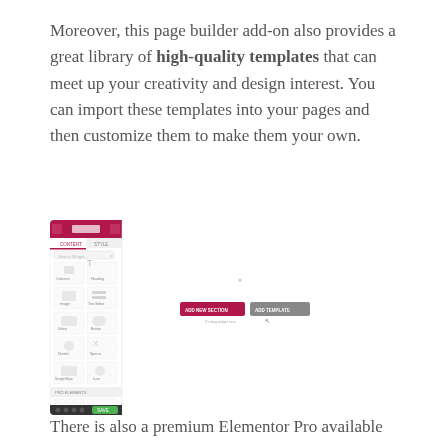Moreover, this page builder add-on also provides a great library of high-quality templates that can meet up your creativity and design interest. You can import these templates into your pages and then customize them to make them your own.
[Figure (screenshot): Screenshot of a page builder UI showing a sidebar with widget icons (columns, text, image, heading, button, divider, spacer, Google Maps, icon) and a main canvas area with two buttons labeled 'ADD NEW SECTION' and 'ADD TEMPLATE', plus a bottom toolbar.]
There is also a premium Elementor Pro available